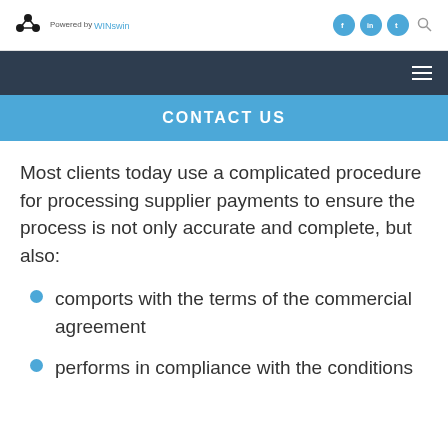Powered by WINswin [logo with social icons and search]
CONTACT US
Most clients today use a complicated procedure for processing supplier payments to ensure the process is not only accurate and complete, but also:
comports with the terms of the commercial agreement
performs in compliance with the conditions